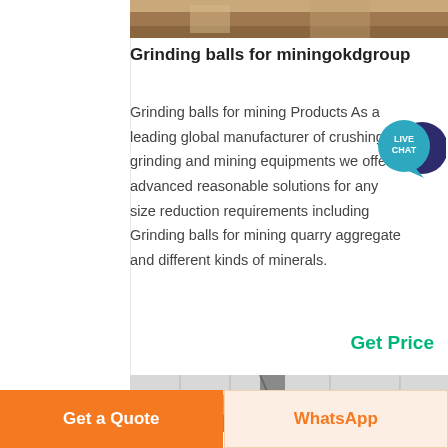[Figure (photo): Partial photo of mining/grinding equipment at top of page]
Grinding balls for miningokdgroup
Grinding balls for mining Products As a leading global manufacturer of crushing grinding and mining equipments we offer advanced reasonable solutions for any size reduction requirements including Grinding balls for mining quarry aggregate and different kinds of minerals.
[Figure (illustration): Live Chat speech bubble icon with teal circle and dark blue background bubble]
Get Price
[Figure (photo): Photo of industrial building interior/exterior - partially visible at bottom]
Get a Quote | WhatsApp